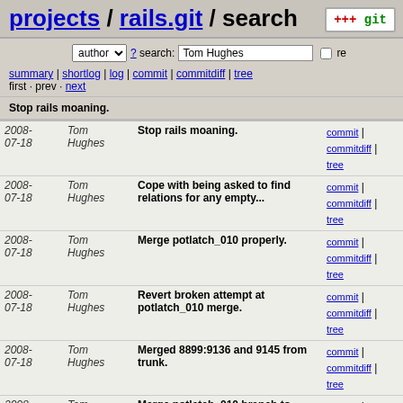projects / rails.git / search
author ? search: Tom Hughes re
summary | shortlog | log | commit | commitdiff | tree
first · prev · next
Stop rails moaning.
| Date | Author | Message | Links |
| --- | --- | --- | --- |
| 2008-07-18 | Tom Hughes | Stop rails moaning. | commit | commitdiff | tree |
| 2008-07-18 | Tom Hughes | Cope with being asked to find relations for any empty... | commit | commitdiff | tree |
| 2008-07-18 | Tom Hughes | Merge potlatch_010 properly. | commit | commitdiff | tree |
| 2008-07-18 | Tom Hughes | Revert broken attempt at potlatch_010 merge. | commit | commitdiff | tree |
| 2008-07-18 | Tom Hughes | Merged 8899:9136 and 9145 from trunk. | commit | commitdiff | tree |
| 2008-07-18 | Tom Hughes | Merge potlatch_010 branch to head. | commit | commitdiff | tree |
| 2008-07-16 | Tom Hughes | Optimise finding of relations, partially reversing... | commit | commitdiff | tree |
| 2008-07-16 | Tom Hughes | Tidy up AMF controller and optimise a few rails things. | commit | commitdiff | tree |
| 2008-07-16 | Tom Hughes | Default to using rails. | commit | commitdiff | tree |